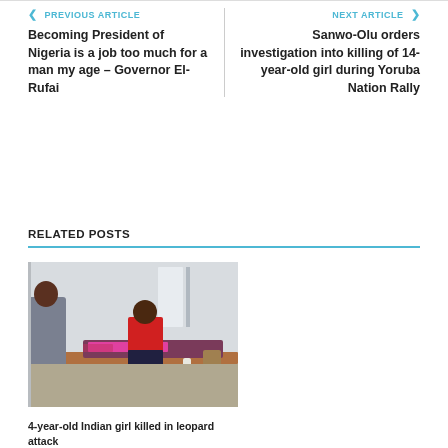< PREVIOUS ARTICLE
Becoming President of Nigeria is a job too much for a man my age – Governor El-Rufai
NEXT ARTICLE >
Sanwo-Olu orders investigation into killing of 14-year-old girl during Yoruba Nation Rally
RELATED POSTS
[Figure (photo): Photo of people in what appears to be a medical or morgue setting, with individuals standing around a body on a table]
4-year-old Indian girl killed in leopard attack